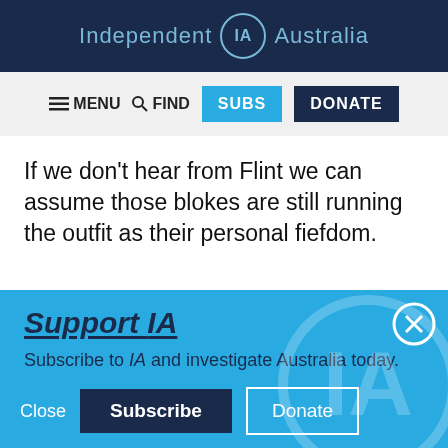Independent IA Australia
MENU FIND SUBS DONATE
If we don’t hear from Flint we can assume those blokes are still running the outfit as their personal fiefdom.
Support IA
Subscribe to IA and investigate Australia today.
Close  Subscribe  Donate
Twitter  Facebook  LinkedIn  Flipboard  Link  More